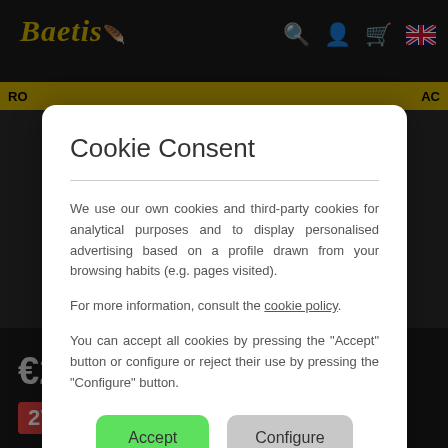[Figure (screenshot): Baetis website header with logo, search icon, user icon, cart icon, and UK flag. Yellow navigation bar partially visible. Dark product page background with prices and discount badge.]
Cookie Consent
We use our own cookies and third-party cookies for analytical purposes and to display personalised advertising based on a profile drawn from your browsing habits (e.g. pages visited).
For more information, consult the cookie policy.
You can accept all cookies by pressing the "Accept" button or configure or reject their use by pressing the "Configure" button.